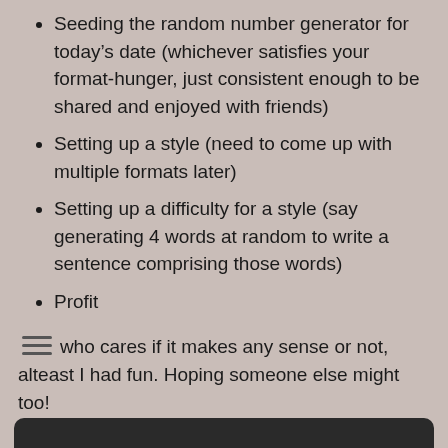Seeding the random number generator for today’s date (whichever satisfies your format-hunger, just consistent enough to be shared and enjoyed with friends)
Setting up a style (need to come up with multiple formats later)
Setting up a difficulty for a style (say generating 4 words at random to write a sentence comprising those words)
Profit
Well who cares if it makes any sense or not, alteast I had fun. Hoping someone else might too!
Here’s a quick python implementation (just for the sake of lazy nerds) (skip if you dont care and only care about the outcome)
[Figure (screenshot): Dark bar at the bottom of the page, partially visible, appears to be a code snippet or dark-themed content block]